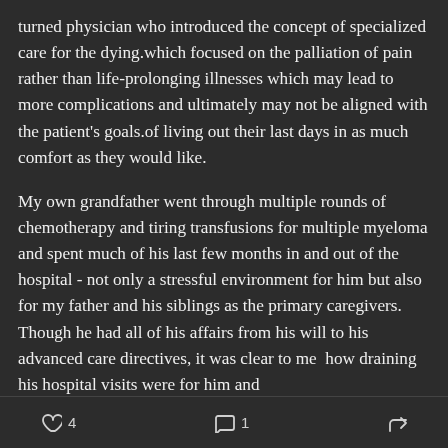turned physician who introduced the concept of specialized care for the dying.which focused on the palliation of pain rather than life-prolonging illnesses which may lead to more complications and ultimately may not be aligned with the patient's goals.of living out their last days in as much comfort as they would like.
My own grandfather went through multiple rounds of chemotherapy and tiring transfusions for multiple myeloma and spent much of his last few months in and out of the hospital - not only a stressful environment for him but also for my father and his siblings as the primary caregivers. Though he had all of his affairs from his will to his advanced care directives, it was clear to me  how draining his hospital visits were for him and
♡ 4    💬 1    ↪